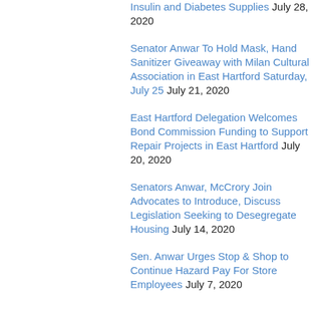Insulin and Diabetes Supplies July 28, 2020
Senator Anwar To Hold Mask, Hand Sanitizer Giveaway with Milan Cultural Association in East Hartford Saturday, July 25 July 21, 2020
East Hartford Delegation Welcomes Bond Commission Funding to Support Repair Projects in East Hartford July 20, 2020
Senators Anwar, McCrory Join Advocates to Introduce, Discuss Legislation Seeking to Desegregate Housing July 14, 2020
Sen. Anwar Urges Stop & Shop to Continue Hazard Pay For Store Employees July 7, 2020